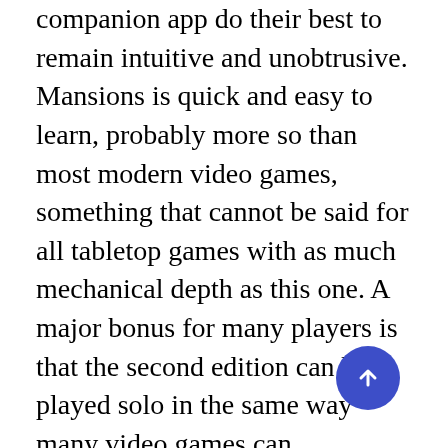companion app do their best to remain intuitive and unobtrusive. Mansions is quick and easy to learn, probably more so than most modern video games, something that cannot be said for all tabletop games with as much mechanical depth as this one. A major bonus for many players is that the second edition can be played solo in the same way many video games can.
Although the inclusion of a companion app might be daunting to many tabletop game players, video game players are perhaps more accustomed to interfacing with a computer, tablet, or smart phone while playing games. And while the companion app handles much of